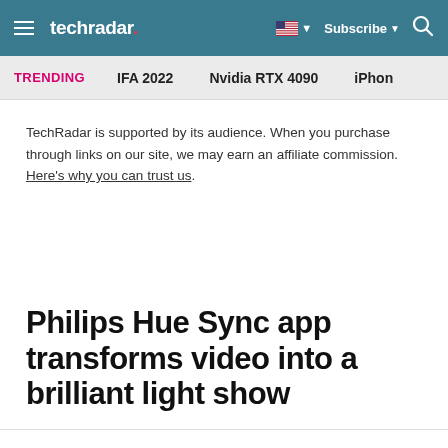techradar | Subscribe | Search
TRENDING  IFA 2022  Nvidia RTX 4090  iPhon
TechRadar is supported by its audience. When you purchase through links on our site, we may earn an affiliate commission. Here's why you can trust us.
Philips Hue Sync app transforms video into a brilliant light show